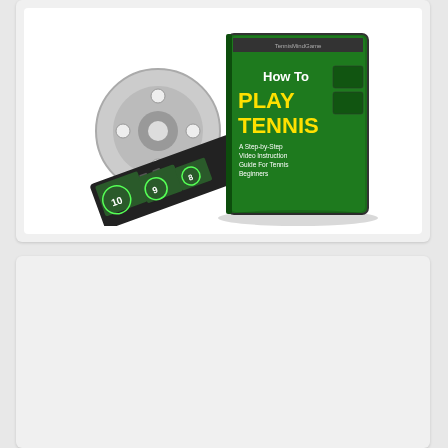[Figure (photo): DVD product image: 'How To Play Tennis - A Step-by-Step Video Instruction Guide For Tennis Beginners' with a film reel showing countdown numbers 10, 9, 8.]
Amazon Related Products
Shop Related Products
[Figure (photo): White and black tennis shoe product image, partially cropped.]